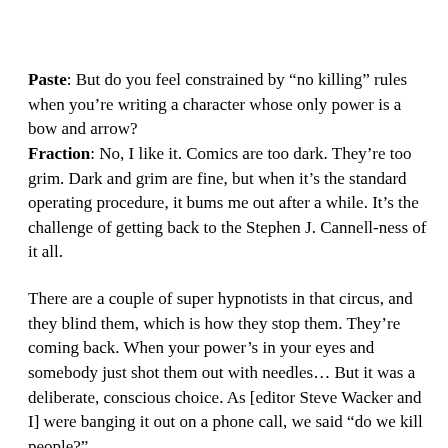Paste: But do you feel constrained by “no killing” rules when you’re writing a character whose only power is a bow and arrow? Fraction: No, I like it. Comics are too dark. They’re too grim. Dark and grim are fine, but when it’s the standard operating procedure, it bums me out after a while. It’s the challenge of getting back to the Stephen J. Cannell-ness of it all.
There are a couple of super hypnotists in that circus, and they blind them, which is how they stop them. They’re coming back. When your power’s in your eyes and somebody just shot them out with needles… But it was a deliberate, conscious choice. As [editor Steve Wacker and I] were banging it out on a phone call, we said “do we kill people?”